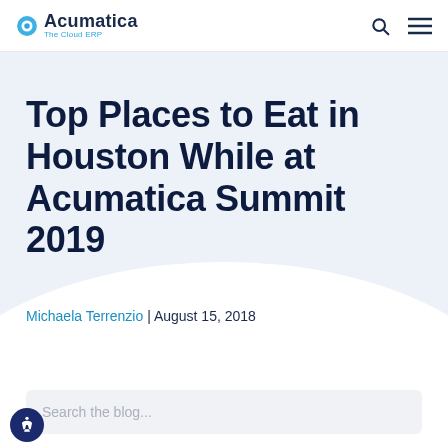Acumatica - The Cloud ERP
Top Places to Eat in Houston While at Acumatica Summit 2019
Michaela Terrenzio | August 15, 2018
Search the blog...